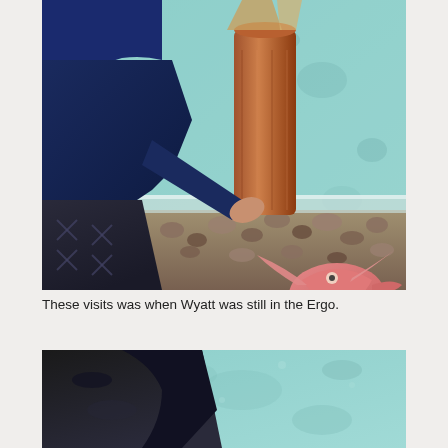[Figure (photo): A child in a dark blue jacket and hat, being carried in an Ergo baby carrier, reaching out toward an aquarium tank. Inside the tank is a pink/orange fish with pectoral fins spread, resting on pebbles and rocks. A terracotta-colored cylindrical object stands upright in the tank. The tank's glass front edge is visible.]
These visits was when Wyatt was still in the Ergo.
[Figure (photo): Partial view of a person in dark clothing viewed from above, against a light teal/green aquarium background. The image is cropped at the bottom of the page.]